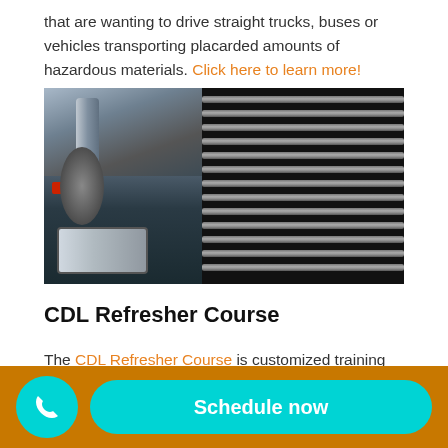that are wanting to drive straight trucks, buses or vehicles transporting placarded amounts of hazardous materials. Click here to learn more!
[Figure (photo): Close-up photo of a large commercial truck showing chrome exhaust stack, front headlights, and a dark metal grill with horizontal slats]
CDL Refresher Course
The CDL Refresher Course is customized training designed for individuals that currently hold a Class A, B
Schedule now